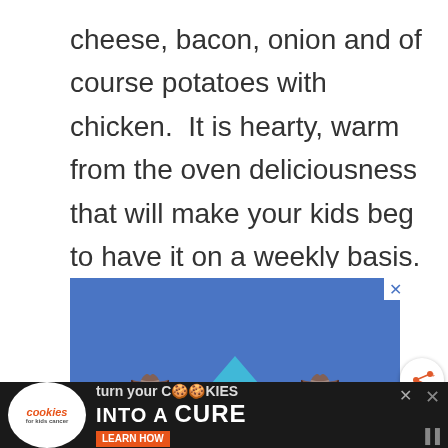cheese, bacon, onion and of course potatoes with chicken.  It is hearty, warm from the oven deliciousness that will make your kids beg to have it on a weekly basis.
[Figure (infographic): Advertisement banner with blue background showing cartoon figures with hats and a teal mountain/hill shape]
[Figure (infographic): Bottom advertisement bar: Cookies for Kids Cancer - turn your COOKIES into a CURE LEARN HOW]